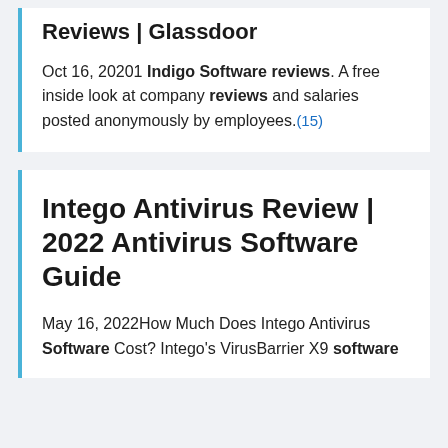Reviews | Glassdoor
Oct 16, 20201 Indigo Software reviews. A free inside look at company reviews and salaries posted anonymously by employees.(15)
Intego Antivirus Review | 2022 Antivirus Software Guide
May 16, 2022How Much Does Intego Antivirus Software Cost? Intego's VirusBarrier X9 software